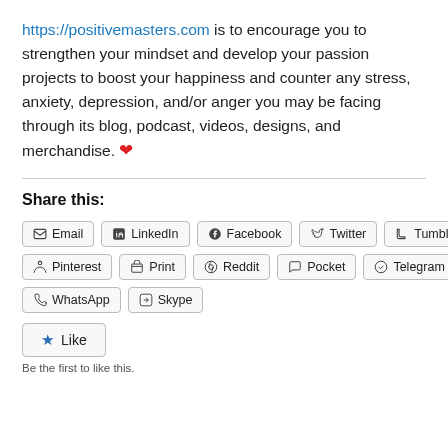https://positivemasters.com is to encourage you to strengthen your mindset and develop your passion projects to boost your happiness and counter any stress, anxiety, depression, and/or anger you may be facing through its blog, podcast, videos, designs, and merchandise. ❤
Share this:
Email | LinkedIn | Facebook | Twitter | Tumblr | Pinterest | Print | Reddit | Pocket | Telegram | WhatsApp | Skype
Like
Be the first to like this.